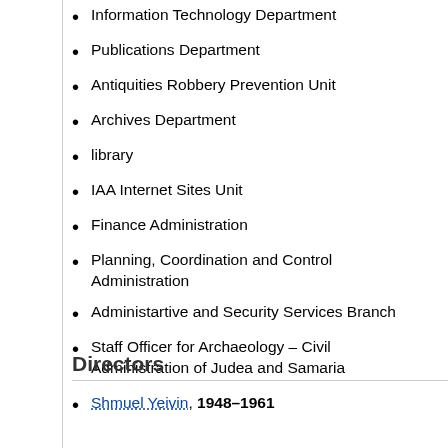Information Technology Department
Publications Department
Antiquities Robbery Prevention Unit
Archives Department
library
IAA Internet Sites Unit
Finance Administration
Planning, Coordination and Control Administration
Administartive and Security Services Branch
Staff Officer for Archaeology – Civil Administration of Judea and Samaria
Directors
Shmuel Yeivin, 1948–1961